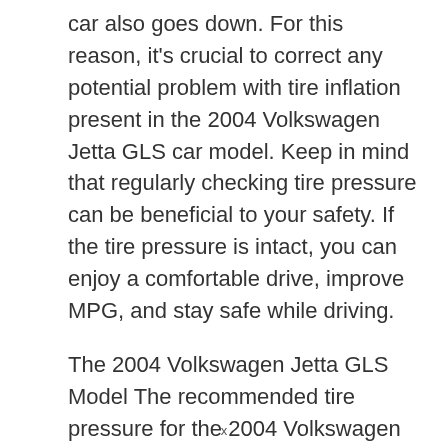car also goes down. For this reason, it's crucial to correct any potential problem with tire inflation present in the 2004 Volkswagen Jetta GLS car model. Keep in mind that regularly checking tire pressure can be beneficial to your safety. If the tire pressure is intact, you can enjoy a comfortable drive, improve MPG, and stay safe while driving.
The 2004 Volkswagen Jetta GLS Model The recommended tire pressure for the 2004 Volkswagen Jetta GLS model can be found by contacting the manufacturer
x